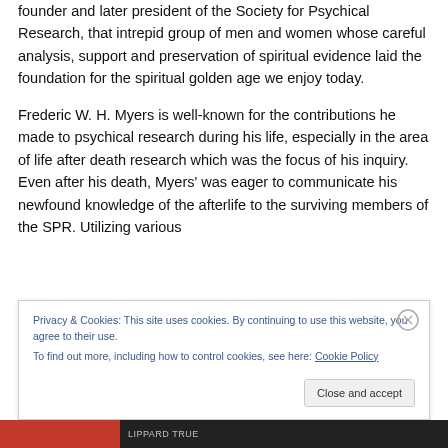founder and later president of the Society for Psychical Research, that intrepid group of men and women whose careful analysis, support and preservation of spiritual evidence laid the foundation for the spiritual golden age we enjoy today.
Frederic W. H. Myers is well-known for the contributions he made to psychical research during his life, especially in the area of life after death research which was the focus of his inquiry. Even after his death, Myers' was eager to communicate his newfound knowledge of the afterlife to the surviving members of the SPR. Utilizing various
Privacy & Cookies: This site uses cookies. By continuing to use this website, you agree to their use.
To find out more, including how to control cookies, see here: Cookie Policy